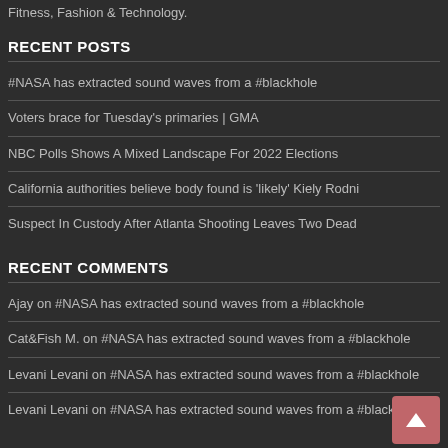Fitness, Fashion & Technology.
RECENT POSTS
#NASA has extracted sound waves from a #blackhole
Voters brace for Tuesday's primaries | GMA
NBC Polls Shows A Mixed Landscape For 2022 Elections
California authorities believe body found is 'likely' Kiely Rodni
Suspect In Custody After Atlanta Shooting Leaves Two Dead
RECENT COMMENTS
Ajay on #NASA has extracted sound waves from a #blackhole
Cat&Fish M. on #NASA has extracted sound waves from a #blackhole
Levani Levani on #NASA has extracted sound waves from a #blackhole
Levani Levani on #NASA has extracted sound waves from a #blackhole